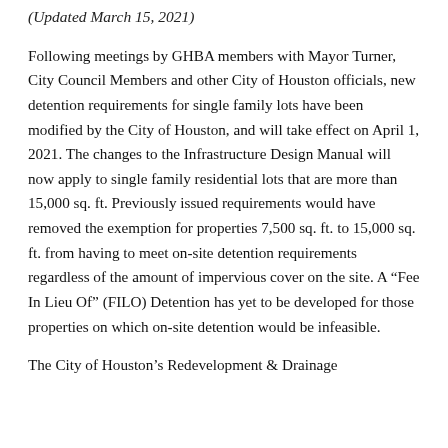(Updated March 15, 2021)
Following meetings by GHBA members with Mayor Turner, City Council Members and other City of Houston officials, new detention requirements for single family lots have been modified by the City of Houston, and will take effect on April 1, 2021. The changes to the Infrastructure Design Manual will now apply to single family residential lots that are more than 15,000 sq. ft. Previously issued requirements would have removed the exemption for properties 7,500 sq. ft. to 15,000 sq. ft. from having to meet on-site detention requirements regardless of the amount of impervious cover on the site. A “Fee In Lieu Of” (FILO) Detention has yet to be developed for those properties on which on-site detention would be infeasible.
The City of Houston’s Redevelopment & Drainage